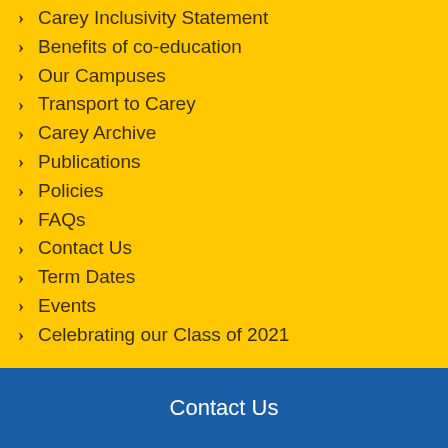Carey Inclusivity Statement
Benefits of co-education
Our Campuses
Transport to Carey
Carey Archive
Publications
Policies
FAQs
Contact Us
Term Dates
Events
Celebrating our Class of 2021
Contact Us